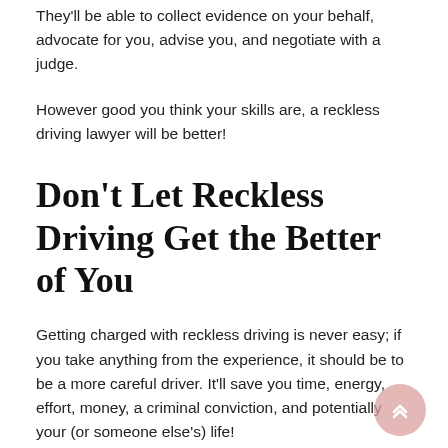They'll be able to collect evidence on your behalf, advocate for you, advise you, and negotiate with a judge.
However good you think your skills are, a reckless driving lawyer will be better!
Don't Let Reckless Driving Get the Better of You
Getting charged with reckless driving is never easy; if you take anything from the experience, it should be to be a more careful driver. It'll save you time, energy, effort, money, a criminal conviction, and potentially your (or someone else's) life!